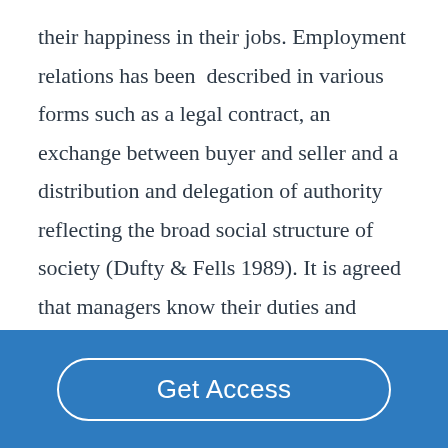their happiness in their jobs. Employment relations has been described in various forms such as a legal contract, an exchange between buyer and seller and a distribution and delegation of authority reflecting the broad social structure of society (Dufty & Fells 1989). It is agreed that managers know their duties and responsibilities to achieve the end results within the organisation. As they get paid for their task, they can achieve their
Get Access